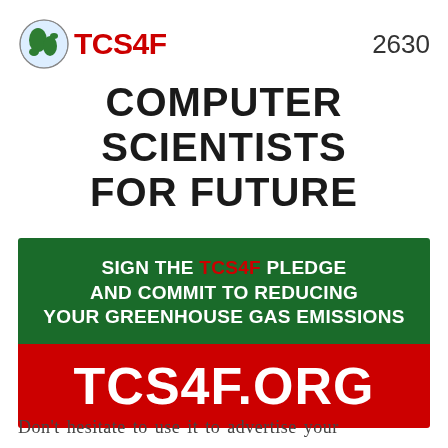[Figure (logo): TCS4F logo: globe icon with green and white continents, next to red bold text 'TCS4F']
2630
COMPUTER SCIENTISTS FOR FUTURE
[Figure (infographic): Green and red banner: dark green top section reads 'SIGN THE TCS4F PLEDGE AND COMMIT TO REDUCING YOUR GREENHOUSE GAS EMISSIONS', red bottom section reads 'TCS4F.ORG' in large white bold text]
Don't hesitate to use it to advertise your